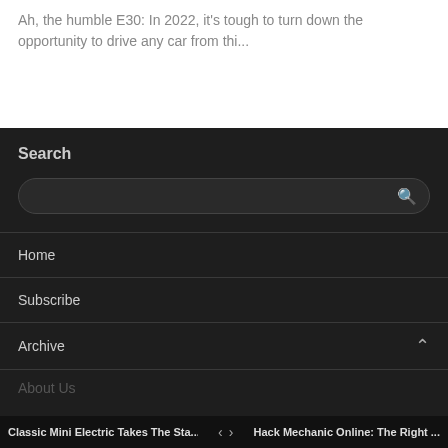Ah, the humble E30: In 2022, it's tough to turn down the opportunity to drive any car from thi...
Search
(search input field)
Home
Subscribe
Archive
About Us
Classic Mini Electric Takes The Sta...  <  >  Hack Mechanic Online: The Right ...